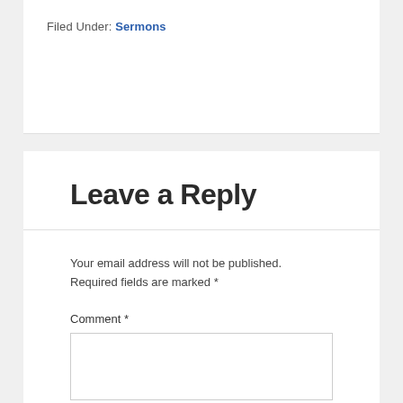Filed Under: Sermons
Leave a Reply
Your email address will not be published. Required fields are marked *
Comment *